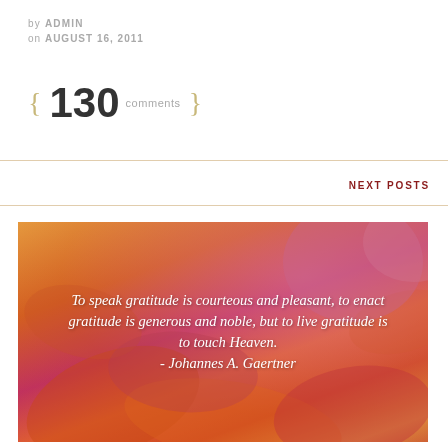by ADMIN
on AUGUST 16, 2011
{ 130 comments }
NEXT POSTS
[Figure (photo): Autumn leaves (orange, red, pink tones) with white italic quote text overlay: 'To speak gratitude is courteous and pleasant, to enact gratitude is generous and noble, but to live gratitude is to touch Heaven. - Johannes A. Gaertner']